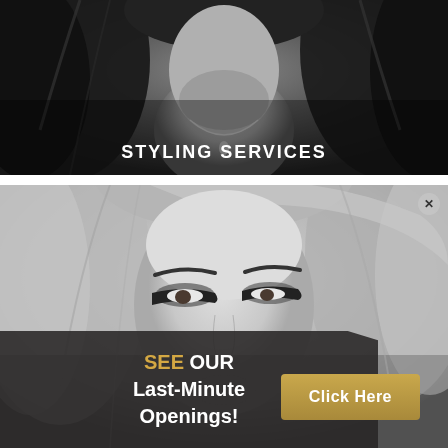[Figure (photo): Black and white photo of a woman with long dark hair, showing neckline and pendant necklace, hair blowing. Text overlay: STYLING SERVICES]
STYLING SERVICES
[Figure (photo): Black and white close-up portrait of a blonde woman with dramatic eye makeup, looking slightly to the side]
SEE OUR Last-Minute Openings!
Click Here